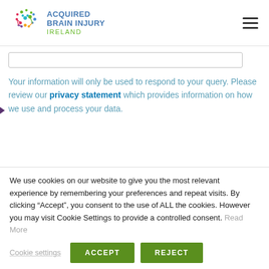ACQUIRED BRAIN INJURY IRELAND
Your information will only be used to respond to your query. Please review our privacy statement which provides information on how we use and process your data.
We use cookies on our website to give you the most relevant experience by remembering your preferences and repeat visits. By clicking “Accept”, you consent to the use of ALL the cookies. However you may visit Cookie Settings to provide a controlled consent. Read More
Cookie settings | ACCEPT | REJECT